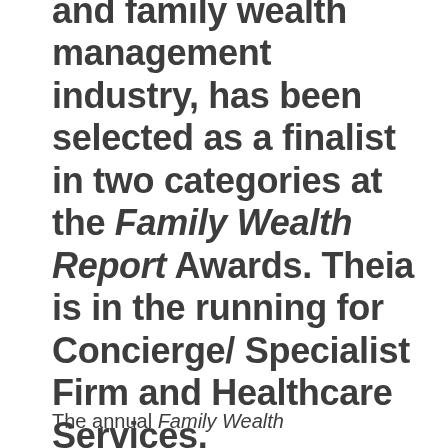and family wealth management industry, has been selected as a finalist in two categories at the Family Wealth Report Awards. Theia is in the running for Concierge/ Specialist Firm and Healthcare Services.
The annual Family Wealth